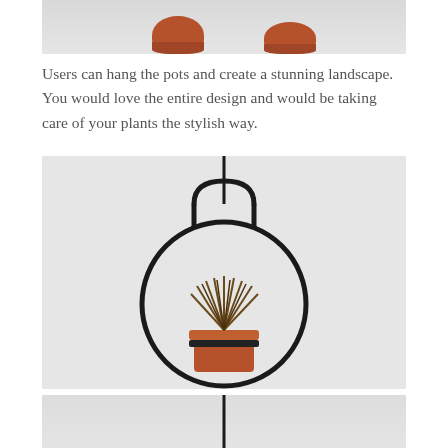[Figure (photo): Top portion of a photo showing two terracotta plant pots hanging, cropped at top of page]
Users can hang the pots and create a stunning landscape. You would love the entire design and would be taking care of your plants the stylish way.
[Figure (photo): A black metal circular ring hanging planter (resembling a light bulb shape) with a vertical rod suspending it from above, holding a small terracotta pot with a spiky grass plant inside, against a light grey background]
[Figure (photo): Bottom portion of another hanging planter photo, cropped at bottom of page, showing a vertical black rod against light background]